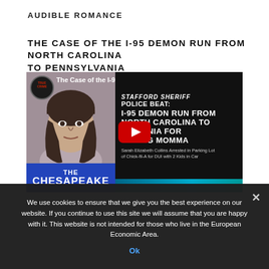AUDIBLE ROMANCE
THE CASE OF THE I-95 DEMON RUN FROM NORTH CAROLINA TO PENNSYLVANIA
[Figure (screenshot): YouTube video thumbnail screenshot showing 'The Case of the I-95 Demon Run fr...' with a mugshot on the left panel labeled 'THE CHESAPEAKE' in blue, and on the right black panel text reading 'STAFFORD SHERIFF POLICE BEAT: I-95 DEMON RUN FROM NORTH CAROLINA TO SYLVANIA FOR OPPING MOMMA' with caption 'Sarah Elizabeth Collins Arrested in Parking Lot of Chick-fil-A for DUI with 2 Kids in Car'. A red YouTube play button overlay is visible.]
We use cookies to ensure that we give you the best experience on our website. If you continue to use this site we will assume that you are happy with it. This website is not intended for those who live in the European Economic Area.
Ok